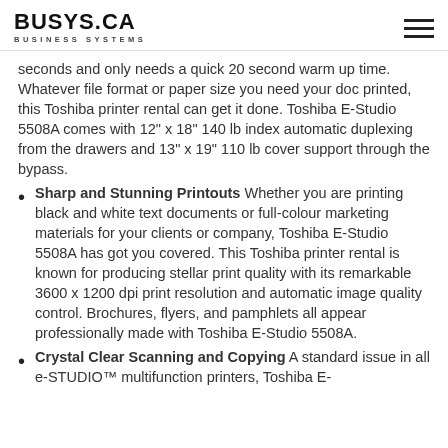BUSYS.CA BUSINESS SYSTEMS
seconds and only needs a quick 20 second warm up time. Whatever file format or paper size you need your doc printed, this Toshiba printer rental can get it done. Toshiba E-Studio 5508A comes with 12" x 18" 140 lb index automatic duplexing from the drawers and 13" x 19" 110 lb cover support through the bypass.
Sharp and Stunning Printouts Whether you are printing black and white text documents or full-colour marketing materials for your clients or company, Toshiba E-Studio 5508A has got you covered. This Toshiba printer rental is known for producing stellar print quality with its remarkable 3600 x 1200 dpi print resolution and automatic image quality control. Brochures, flyers, and pamphlets all appear professionally made with Toshiba E-Studio 5508A.
Crystal Clear Scanning and Copying A standard issue in all e-STUDIO™ multifunction printers, Toshiba E-